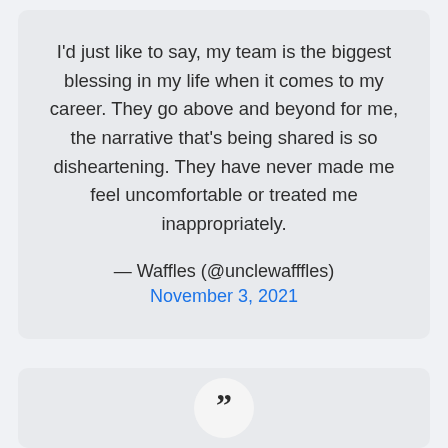I'd just like to say, my team is the biggest blessing in my life when it comes to my career. They go above and beyond for me, the narrative that's being shared is so disheartening. They have never made me feel uncomfortable or treated me inappropriately.
— Waffles (@unclewafffles)
November 3, 2021
[Figure (illustration): A close-quote / right double quotation mark icon inside a white circle, shown at the bottom of the page as part of a second card]